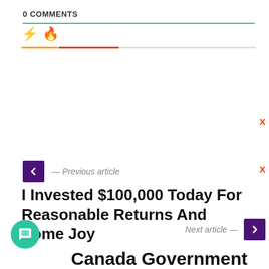0 COMMENTS
— Previous article
I Invested $100,000 Today For Reasonable Returns And Some Joy
Next article —
Canada Government